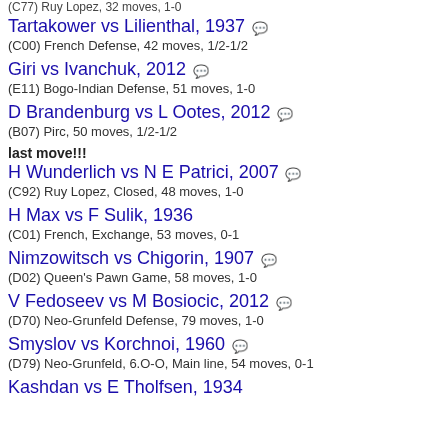(C77) Ruy Lopez, 32 moves, 1-0
Tartakower vs Lilienthal, 1937 [icon] (C00) French Defense, 42 moves, 1/2-1/2
Giri vs Ivanchuk, 2012 [icon] (E11) Bogo-Indian Defense, 51 moves, 1-0
D Brandenburg vs L Ootes, 2012 [icon] (B07) Pirc, 50 moves, 1/2-1/2
last move!!!
H Wunderlich vs N E Patrici, 2007 [icon] (C92) Ruy Lopez, Closed, 48 moves, 1-0
H Max vs F Sulik, 1936 (C01) French, Exchange, 53 moves, 0-1
Nimzowitsch vs Chigorin, 1907 [icon] (D02) Queen's Pawn Game, 58 moves, 1-0
V Fedoseev vs M Bosiocic, 2012 [icon] (D70) Neo-Grunfeld Defense, 79 moves, 1-0
Smyslov vs Korchnoi, 1960 [icon] (D79) Neo-Grunfeld, 6.O-O, Main line, 54 moves, 0-1
Kashdan vs E Tholfsen, 1934